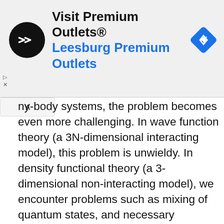[Figure (other): Advertisement banner: circular black logo with double-arrow symbol, text 'Visit Premium Outlets®' in black bold and 'Leesburg Premium Outlets' in blue bold, blue diamond navigation arrow icon on right]
ny-body systems, the problem becomes even more challenging. In wave function theory (a 3N-dimensional interacting model), this problem is unwieldy. In density functional theory (a 3-dimensional non-interacting model), we encounter problems such as mixing of quantum states, and necessary treatments of quantum subsystems as being open, fluctuating in their number of electrons. These approximations leads to ugly results -- discontinuities in parts of the framework needed to describe essential parts of the picture, and interpretively challenging physical results such as non-integer numbers of